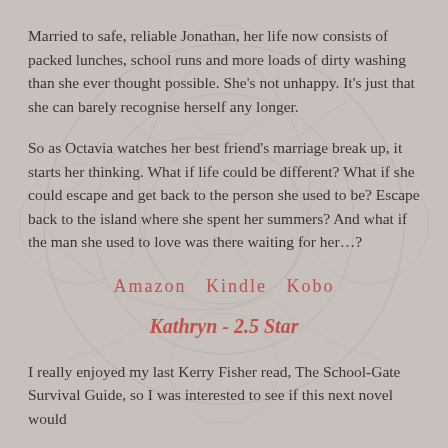Married to safe, reliable Jonathan, her life now consists of packed lunches, school runs and more loads of dirty washing than she ever thought possible. She’s not unhappy. It’s just that she can barely recognise herself any longer.
So as Octavia watches her best friend’s marriage break up, it starts her thinking. What if life could be different? What if she could escape and get back to the person she used to be? Escape back to the island where she spent her summers? And what if the man she used to love was there waiting for her…?
Amazon   Kindle   Kobo
Kathryn - 2.5 Star
I really enjoyed my last Kerry Fisher read, The School-Gate Survival Guide, so I was interested to see if this next novel would